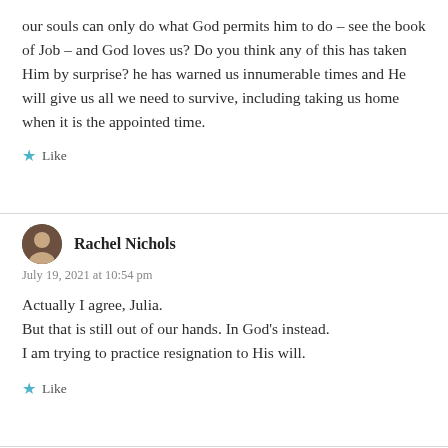our souls can only do what God permits him to do – see the book of Job – and God loves us? Do you think any of this has taken Him by surprise? he has warned us innumerable times and He will give us all we need to survive, including taking us home when it is the appointed time.
★ Like
Rachel Nichols
July 19, 2021 at 10:54 pm
Actually I agree, Julia.
But that is still out of our hands. In God's instead.
I am trying to practice resignation to His will.
★ Like